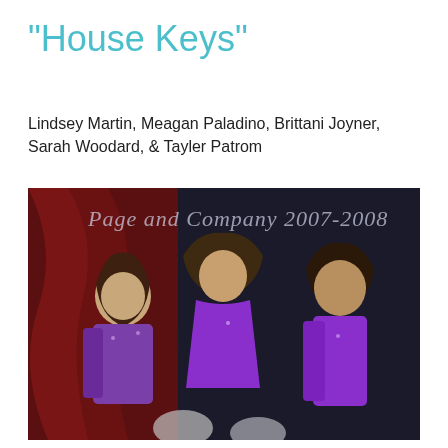"House Keys"
Lindsey Martin, Meagan Paladino, Brittani Joyner, Sarah Woodard, & Tayler Patrom
[Figure (photo): Three young women wearing purple sequined/metallic performance costumes and long purple gloves, posing for a group photo. Text overlay reads 'Page and Company 2007-2008' in a cursive/script font. Background has a red draped curtain on the left and dark background on the right. They appear to be holding silver pom-poms at the bottom.]